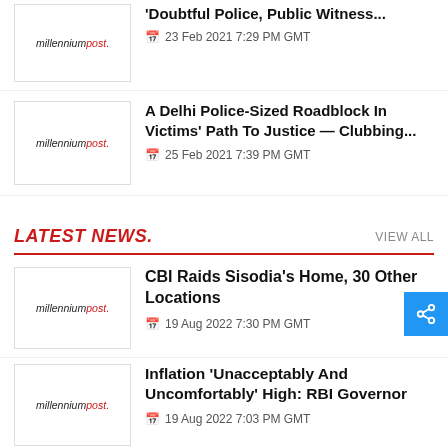[Figure (logo): Millennium Post logo thumbnail]
'Doubtful Police, Public Witness...'
23 Feb 2021 7:29 PM GMT
[Figure (logo): Millennium Post logo thumbnail]
A Delhi Police-Sized Roadblock In Victims' Path To Justice — Clubbing...
25 Feb 2021 7:39 PM GMT
LATEST NEWS.
VIEW ALL
[Figure (logo): Millennium Post logo thumbnail]
CBI Raids Sisodia's Home, 30 Other Locations
19 Aug 2022 7:30 PM GMT
[Figure (logo): Millennium Post logo thumbnail]
Inflation 'Unacceptably And Uncomfortably' High: RBI Governor
19 Aug 2022 7:03 PM GMT
[Figure (logo): Millennium Post logo thumbnail]
Adani Power To Acquire DB Power For Rs 7,017 Cr
19 Aug 2022 7:02 PM GMT
[Figure (logo): Millennium Post logo thumbnail]
7 Cr Rural Families Given Piped Water Connection In 3 Yrs: PM